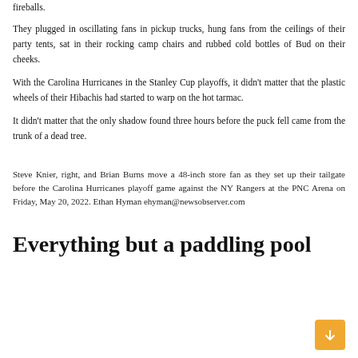fireballs.
They plugged in oscillating fans in pickup trucks, hung fans from the ceilings of their party tents, sat in their rocking camp chairs and rubbed cold bottles of Bud on their cheeks.
With the Carolina Hurricanes in the Stanley Cup playoffs, it didn't matter that the plastic wheels of their Hibachis had started to warp on the hot tarmac.
It didn't matter that the only shadow found three hours before the puck fell came from the trunk of a dead tree.
Steve Knier, right, and Brian Burns move a 48-inch store fan as they set up their tailgate before the Carolina Hurricanes playoff game against the NY Rangers at the PNC Arena on Friday, May 20, 2022. Ethan Hyman ehyman@newsobserver.com
Everything but a paddling pool